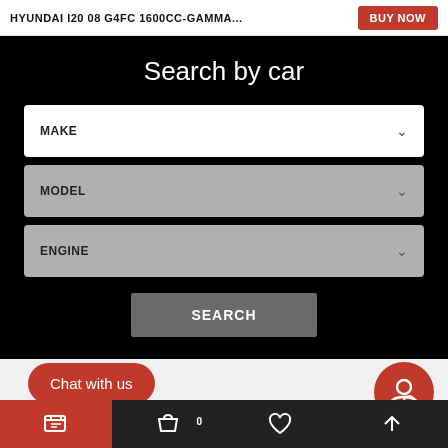HYUNDAI I20 08 G4FC 1600CC-GAMMA...
BUY NOW
Search by car
MAKE
MODEL
ENGINE
SEARCH
Chat with us